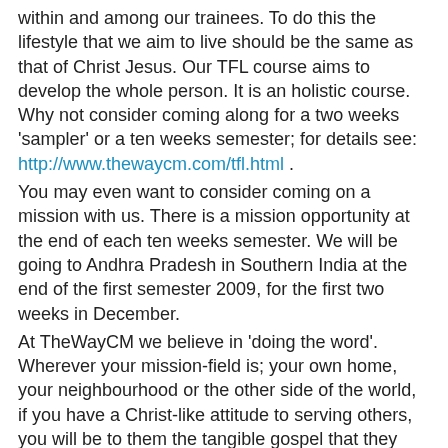within and among our trainees. To do this the lifestyle that we aim to live should be the same as that of Christ Jesus. Our TFL course aims to develop the whole person. It is an holistic course. Why not consider coming along for a two weeks 'sampler' or a ten weeks semester; for details see: http://www.thewaycm.com/tfl.html .
You may even want to consider coming on a mission with us. There is a mission opportunity at the end of each ten weeks semester. We will be going to Andhra Pradesh in Southern India at the end of the first semester 2009, for the first two weeks in December.
At TheWayCM we believe in 'doing the word'. Wherever your mission-field is; your own home, your neighbourhood or the other side of the world, if you have a Christ-like attitude to serving others, you will be to them the tangible gospel that they can see, hear, taste, smell and touch. Jesus plainly told us in Matthew chapter 25 verse 40 that if we do this for others, we do it for Him.
Lord Jesus, thank you for teaching us by example. Amen
YouTube video: http://www.youtube.com/watch?v=qSmkvILPO0k&feature=channel_page
Or ITube: To subscribe http://thewaycm.sharepoint.com/...